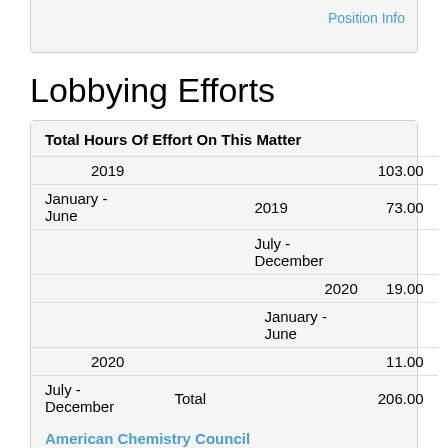Position Info
Lobbying Efforts
|  |  |
| --- | --- |
| Total Hours Of Effort On This Matter |  |
| 2019 January - June | 103.00 |
| 2019 July - December | 73.00 |
| 2020 January - June | 19.00 |
| 2020 July - December | 11.00 |
| Total | 206.00 |
American Chemistry Council
|  |  |
| --- | --- |
| 2019 January - June | 3.00 |